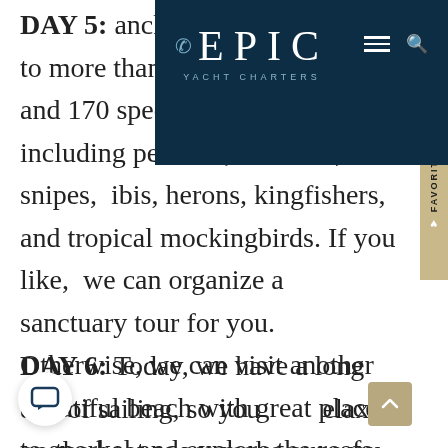[Figure (logo): Epic Yacht Charters navigation bar with dark navy background, phone icon, EPIC logo in large serif text, YACHT CHARTERS subtitle, hamburger menu icon, and search icon]
DAY 5: ... anchor... ...ch is home to more than 5,000 frigate birds and 170 species of birds, including pelicans, warblers, snipes, ibis, herons, kingfishers, and tropical mockingbirds. If you like, we can organize a sanctuary tour for you. Otherwise, we can visit another beautiful beach with great places to snorkel and explore the reefs. We will stay here for the night and enjoy another beautiful sunset.
DAY 6: Today, we have a long day of sailing, so you can relax on the boat as we make our way to the e and isolated Green Island. This location well known for kitesurfing and snorkeling, but you